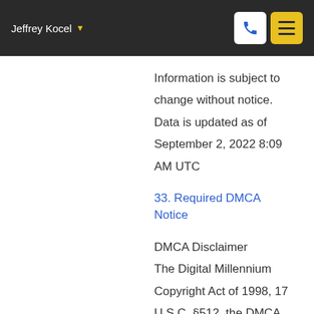Jeffrey Kocel
Information is subject to change without notice. Data is updated as of September 2, 2022 8:09 AM UTC
33. Required DMCA Notice
DMCA Disclaimer
The Digital Millennium Copyright Act of 1998, 17 U.S.C. §512, the DMCA, provides recourse for copyright owners who believe that material appearing on the Internet